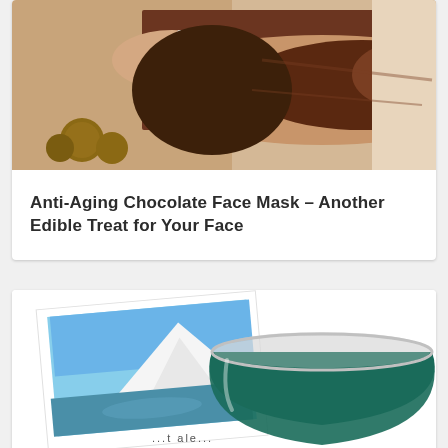[Figure (photo): A person lying face down on a spa table receiving a chocolate body treatment applied with a brush. Decorative wicker balls visible in the background.]
Anti-Aging Chocolate Face Mask – Another Edible Treat for Your Face
[Figure (photo): A composite image showing a polaroid-style photo of a snow-capped mountain reflected in a lake, overlaid with a glass bowl containing a dark green liquid or paste, likely spirulina.]